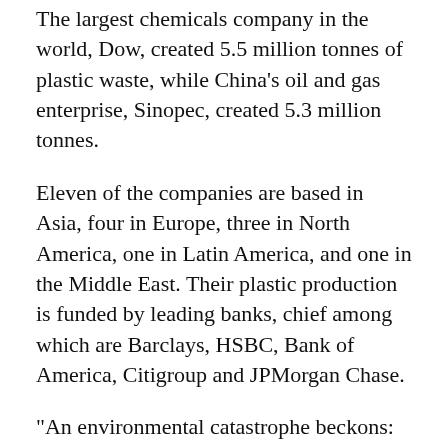The largest chemicals company in the world, Dow, created 5.5 million tonnes of plastic waste, while China's oil and gas enterprise, Sinopec, created 5.3 million tonnes.
Eleven of the companies are based in Asia, four in Europe, three in North America, one in Latin America, and one in the Middle East. Their plastic production is funded by leading banks, chief among which are Barclays, HSBC, Bank of America, Citigroup and JPMorgan Chase.
“An environmental catastrophe beckons: much of the resulting single-use plastic waste will end up as pollution in developing countries with poor waste management systems,” the authors of the report said.